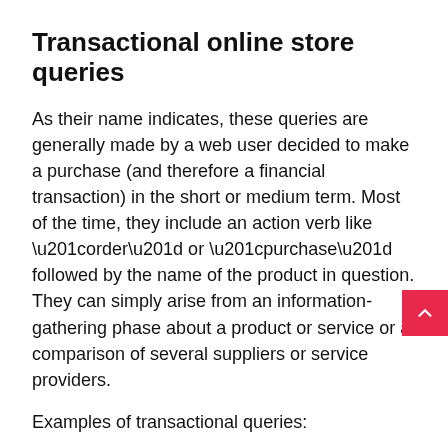Transactional online store queries
As their name indicates, these queries are generally made by a web user decided to make a purchase (and therefore a financial transaction) in the short or medium term. Most of the time, they include an action verb like “order” or “purchase” followed by the name of the product in question. They can simply arise from an information-gathering phase about a product or service or a comparison of several suppliers or service providers.
Examples of transactional queries:
buy iPhone 10 128 go